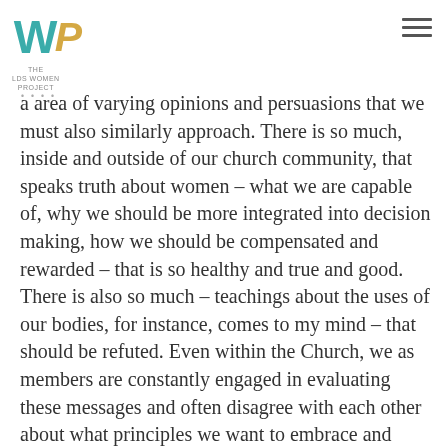THE LDS WOMEN PROJECT
a area of varying opinions and persuasions that we must also similarly approach. There is so much, inside and outside of our church community, that speaks truth about women – what we are capable of, why we should be more integrated into decision making, how we should be compensated and rewarded – that is so healthy and true and good. There is also so much – teachings about the uses of our bodies, for instance, comes to my mind – that should be refuted. Even within the Church, we as members are constantly engaged in evaluating these messages and often disagree with each other about what principles we want to embrace and which we